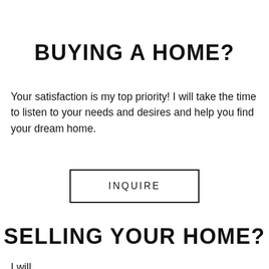BUYING A HOME?
Your satisfaction is my top priority! I will take the time to listen to your needs and desires and help you find your dream home.
INQUIRE
SELLING YOUR HOME?
I will...